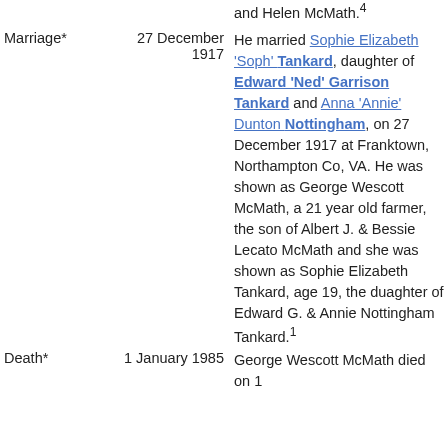and Helen McMath.4
Marriage* 27 December 1917 He married Sophie Elizabeth 'Soph' Tankard, daughter of Edward 'Ned' Garrison Tankard and Anna 'Annie' Dunton Nottingham, on 27 December 1917 at Franktown, Northampton Co, VA. He was shown as George Wescott McMath, a 21 year old farmer, the son of Albert J. & Bessie Lecato McMath and she was shown as Sophie Elizabeth Tankard, age 19, the duaghter of Edward G. & Annie Nottingham Tankard.1
Death* 1 January 1985 George Wescott McMath died on 1